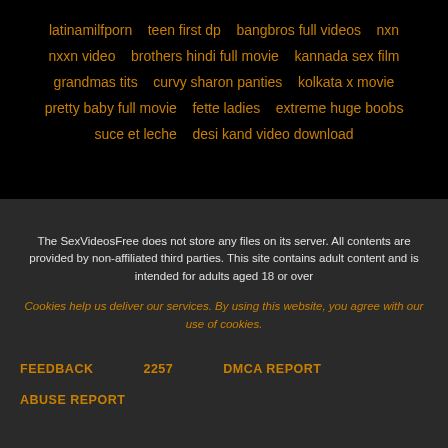latinamilfporn   teen first dp   bangbros full videos   nxn
nxxn video   brothers hindi full movie   kannada sex film
grandmas tits   curvy sharon panties   kolkata x movie
pretty baby full movie   fette ladies   extreme huge boobs
suce et leche   desi kand video download
The SexVideosFree does not store any files on its server. All contents are provided by non-affiliated third parties. This site contains adult content and is intended for adults aged 18 or over
Cookies help us deliver our services. By using this website, you agree with our use of cookies.
FEEDBACK   2257   DMCA REPORT
ABUSE REPORT